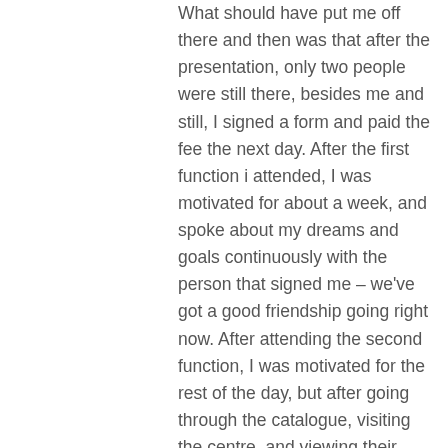What should have put me off there and then was that after the presentation, only two people were still there, besides me and still, I signed a form and paid the fee the next day. After the first function i attended, I was motivated for about a week, and spoke about my dreams and goals continuously with the person that signed me – we've got a good friendship going right now. After attending the second function, I was motivated for the rest of the day, but after going through the catalogue, visiting the centre, and viewing their prices I was so angry at myself.. How could I have believe that a